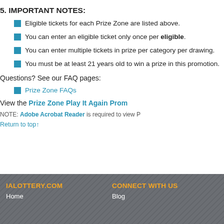5. IMPORTANT NOTES:
Eligible tickets for each Prize Zone are listed above.
You can enter an eligible ticket only once per eligible.
You can enter multiple tickets in prize per category per drawing.
You must be at least 21 years old to win a prize in this promotion.
Questions? See our FAQ pages:
Prize Zone FAQs
View the Prize Zone Play It Again Prom
NOTE: Adobe Acrobat Reader is required to view P
Return to top↑
IALOTTERY.COM
Home
CONNECT WITH US
Blog